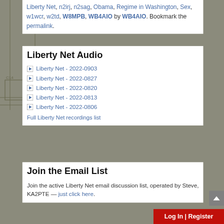Liberty Net, n2irj, n2sag, Obama, Regime in Washington, Sex, w1wcr, w2td, W8MPB, WB4AIO by WB4AIO. Bookmark the permalink.
[Figure (schematic): Electronic circuit schematic diagram background visible behind white content cards]
Liberty Net Audio
Liberty Net - 2022-0903
Liberty Net - 2022-0827
Liberty Net - 2022-0820
Liberty Net - 2022-0813
Liberty Net - 2022-0806
Full Liberty Net recordings list
Join the Email List
Join the active Liberty Net email discussion list, operated by Steve, KA2PTE — just click here.